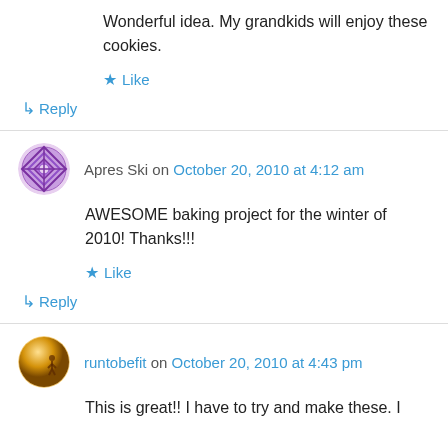Wonderful idea. My grandkids will enjoy these cookies.
★ Like
↳ Reply
Apres Ski on October 20, 2010 at 4:12 am
AWESOME baking project for the winter of 2010! Thanks!!!
★ Like
↳ Reply
runtobefit on October 20, 2010 at 4:43 pm
This is great!! I have to try and make these. I